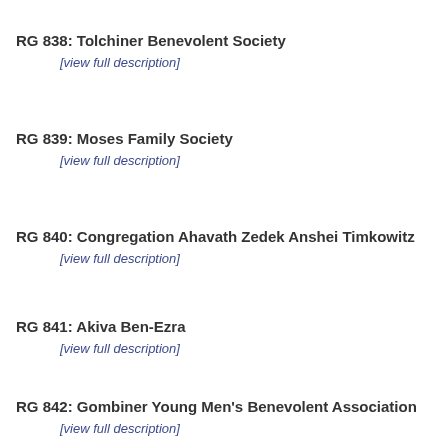RG 838: Tolchiner Benevolent Society
[view full description]
RG 839: Moses Family Society
[view full description]
RG 840: Congregation Ahavath Zedek Anshei Timkowitz
[view full description]
RG 841: Akiva Ben-Ezra
[view full description]
RG 842: Gombiner Young Men's Benevolent Association
[view full description]